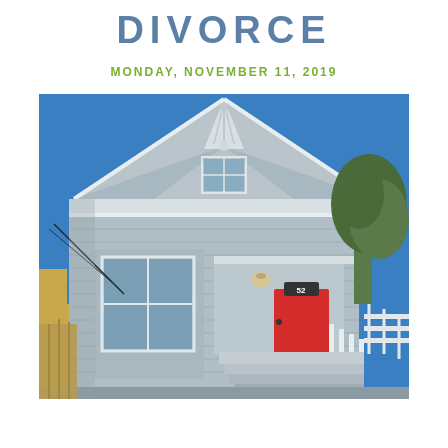DIVORCE
MONDAY, NOVEMBER 11, 2019
[Figure (photo): Front exterior of a Victorian-style house with gray siding, white trim, red front door with number 52, bay window on ground floor, decorative fish-scale shingles on upper gable, porch with white railing and steps, green tree on right side, blue sky background.]